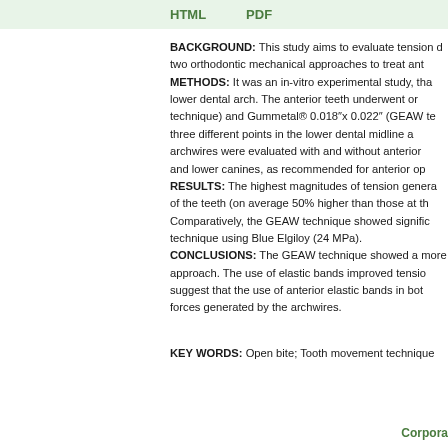HTML    PDF
BACKGROUND: This study aims to evaluate tension d two orthodontic mechanical approaches to treat ant METHODS: It was an in-vitro experimental study, tha lower dental arch. The anterior teeth underwent or technique) and Gummetal® 0.018"x 0.022" (GEAW te three different points in the lower dental midline a archwires were evaluated with and without anterior and lower canines, as recommended for anterior op RESULTS: The highest magnitudes of tension genera of the teeth (on average 50% higher than those at th Comparatively, the GEAW technique showed signific technique using Blue Elgiloy (24 MPa). CONCLUSIONS: The GEAW technique showed a more approach. The use of elastic bands improved tensio suggest that the use of anterior elastic bands in bot forces generated by the archwires.
KEY WORDS: Open bite; Tooth movement technique
Corpora